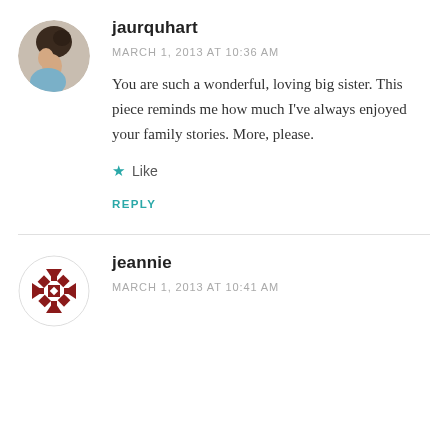[Figure (photo): Circular avatar photo of a woman with dark hair viewed from behind/side]
jaurquhart
MARCH 1, 2013 AT 10:36 AM
You are such a wonderful, loving big sister. This piece reminds me how much I've always enjoyed your family stories. More, please.
★ Like
REPLY
[Figure (logo): Circular avatar with a geometric quilt-pattern design in dark red/maroon]
jeannie
MARCH 1, 2013 AT 10:41 AM